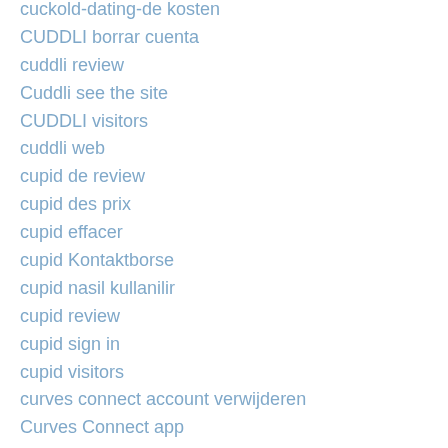cuckold-dating-de kosten
CUDDLI borrar cuenta
cuddli review
Cuddli see the site
CUDDLI visitors
cuddli web
cupid de review
cupid des prix
cupid effacer
cupid Kontaktborse
cupid nasil kullanilir
cupid review
cupid sign in
cupid visitors
curves connect account verwijderen
Curves Connect app
curves connect gratis
curves connect incontri